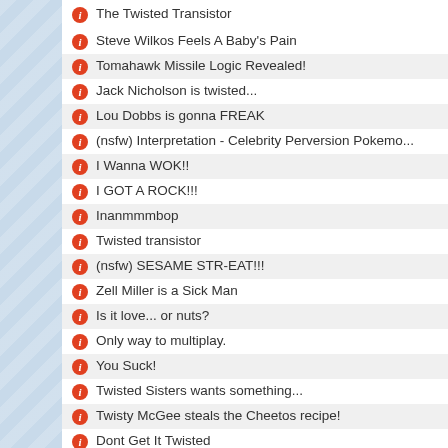The Twisted Transistor
Steve Wilkos Feels A Baby's Pain
Tomahawk Missile Logic Revealed!
Jack Nicholson is twisted...
Lou Dobbs is gonna FREAK
(nsfw) Interpretation - Celebrity Perversion Pokemo...
I Wanna WOK!!
I GOT A ROCK!!!
Inanmmmbop
Twisted transistor
(nsfw) SESAME STR-EAT!!!
Zell Miller is a Sick Man
Is it love... or nuts?
Only way to multiplay.
You Suck!
Twisted Sisters wants something...
Twisty McGee steals the Cheetos recipe!
Dont Get It Twisted